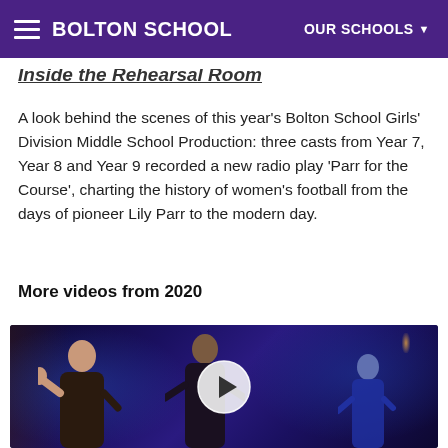BOLTON SCHOOL — OUR SCHOOLS
Inside the Rehearsal Room
A look behind the scenes of this year's Bolton School Girls' Division Middle School Production: three casts from Year 7, Year 8 and Year 9 recorded a new radio play 'Parr for the Course', charting the history of women's football from the days of pioneer Lily Parr to the modern day.
More videos from 2020
[Figure (photo): Video thumbnail showing students in a dimly lit blue-lit scene, with a circular play button overlay in the centre.]